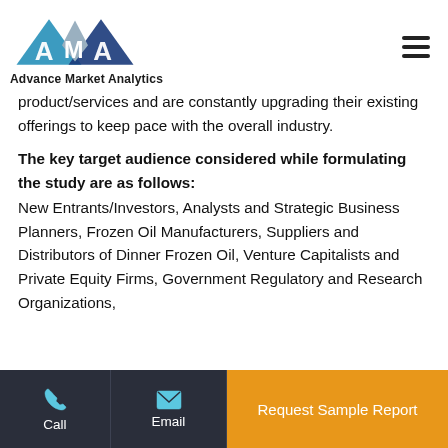Advance Market Analytics
product/services and are constantly upgrading their existing offerings to keep pace with the overall industry.
The key target audience considered while formulating the study are as follows:
New Entrants/Investors, Analysts and Strategic Business Planners, Frozen Oil Manufacturers, Suppliers and Distributors of Dinner Frozen Oil, Venture Capitalists and Private Equity Firms, Government Regulatory and Research Organizations,
Call | Email | Request Sample Report